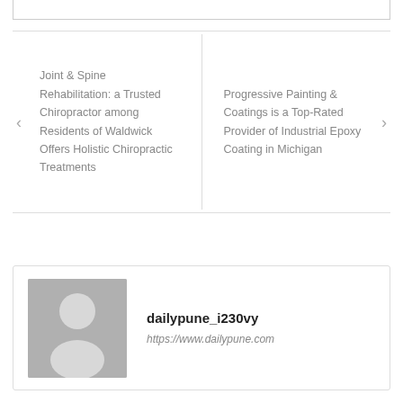Joint & Spine Rehabilitation: a Trusted Chiropractor among Residents of Waldwick Offers Holistic Chiropractic Treatments
Progressive Painting & Coatings is a Top-Rated Provider of Industrial Epoxy Coating in Michigan
dailypune_i230vy
https://www.dailypune.com